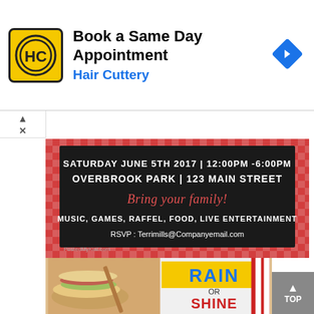[Figure (infographic): Hair Cuttery advertisement banner: logo (HC in yellow/black circle), text 'Book a Same Day Appointment / Hair Cuttery', blue navigation arrow diamond icon on right]
[Figure (infographic): Company summer picnic party flyer on red gingham background with black chalkboard center: 'SATURDAY JUNE 5TH 2017 | 12:00PM - 6:00PM', 'OVERBROOK PARK | 123 MAIN STREET', 'Bring your family!', 'MUSIC, GAMES, RAFFEL, FOOD, LIVE ENTERTAINMENT', 'RSVP: Terrimills@Companyemail.com'. Watermark: PostedMyKlal.com]
Source: www.pinterest.com
$29 company summer picnic flyer & ad. Picnic party flyer template flyers might be cheap and don't go heavy on your pocket…but if you look into the depth of it, the purpose for which you utilize it, demands effort and hard work.
[Figure (photo): Bottom partial image showing food (sandwich/burger) on left and 'RAIN OR SHINE' text in yellow/blue on right, partially visible]